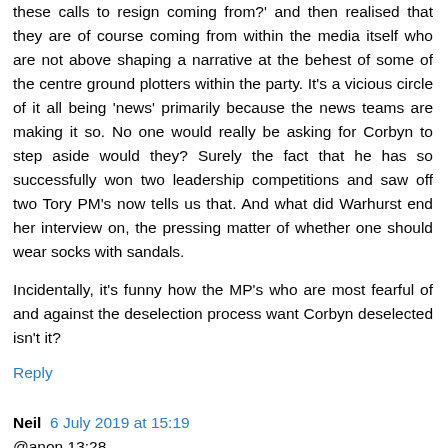these calls to resign coming from?' and then realised that they are of course coming from within the media itself who are not above shaping a narrative at the behest of some of the centre ground plotters within the party. It's a vicious circle of it all being 'news' primarily because the news teams are making it so. No one would really be asking for Corbyn to step aside would they? Surely the fact that he has so successfully won two leadership competitions and saw off two Tory PM's now tells us that. And what did Warhurst end her interview on, the pressing matter of whether one should wear socks with sandals.
Incidentally, it's funny how the MP's who are most fearful of and against the deselection process want Corbyn deselected isn't it?
Reply
Neil  6 July 2019 at 15:19
@anon 13:28
There's nothing like an objective comment about media